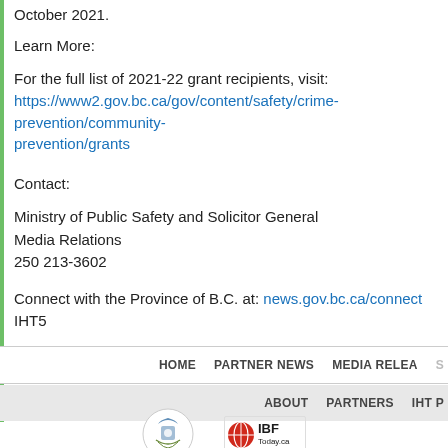October 2021.
Learn More:
For the full list of 2021-22 grant recipients, visit:
https://www2.gov.bc.ca/gov/content/safety/crime-prevention/community-prevention/grants
Contact:
Ministry of Public Safety and Solicitor General
Media Relations
250 213-3602
Connect with the Province of B.C. at: news.gov.bc.ca/connect
IHT5
HOME   PARTNER NEWS   MEDIA RELEASE
ABOUT   PARTNERS   IHT P
[Figure (logo): BC government crest logo and IBF Today.ca logo]